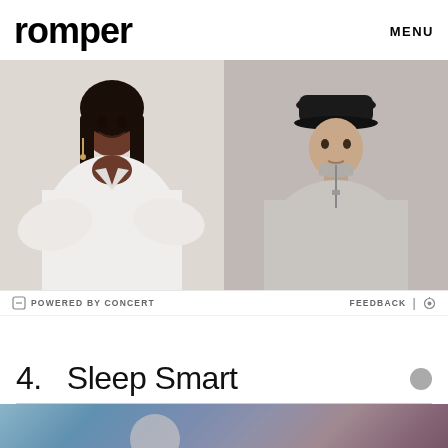romper   MENU
[Figure (photo): Two fashion photos side by side: left shows a smiling Black woman with long braids wearing a white oversized shirt; right shows a person wearing a black cap and a light grey zip-collar sweatshirt.]
POWERED BY CONCERT   FEEDBACK | ⚙
4.  Sleep Smart
[Figure (photo): Partial view of an image at the bottom of the page showing a blue and purple toned background with a circular shape.]